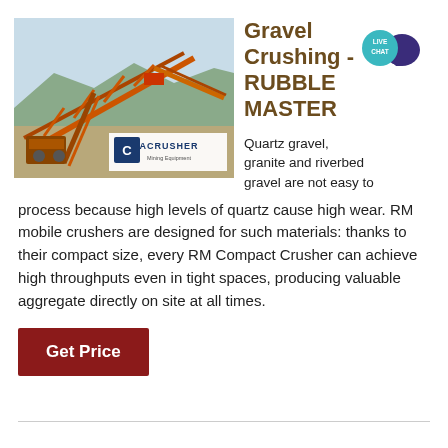[Figure (photo): Industrial gravel crushing machine equipment with orange conveyors and structure at an outdoor mining site. ACRUSHER Mining Equipment logo overlay in bottom right of image.]
Gravel Crushing - RUBBLE MASTER
Quartz gravel, granite and riverbed gravel are not easy to process because high levels of quartz cause high wear. RM mobile crushers are designed for such materials: thanks to their compact size, every RM Compact Crusher can achieve high throughputs even in tight spaces, producing valuable aggregate directly on site at all times.
Get Price